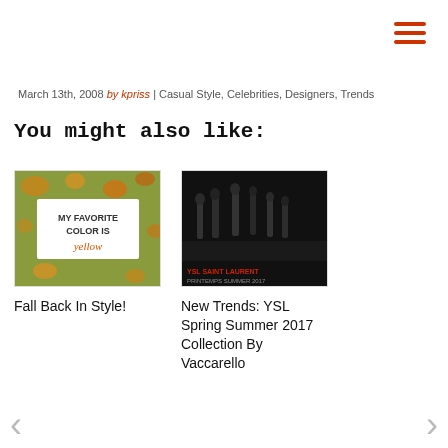[Figure (other): Hamburger menu icon with three orange-red horizontal bars]
March 13th, 2008 by kpriss | Casual Style, Celebrities, Designers, Trends
You might also like:
[Figure (photo): Photo of a handwritten sign saying 'MY FAVORITE COLOR IS ellow' on an autumn background]
Fall Back In Style!
[Figure (photo): Black and white photo of YSL fashion show with text 'YSL SAINT LAURENT PRINTEMPS SUMMER 2017']
New Trends: YSL Spring Summer 2017 Collection By Vaccarello